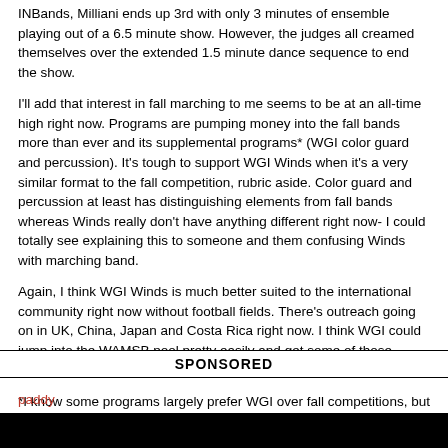INBands, Milliani ends up 3rd with only 3 minutes of ensemble playing out of a 6.5 minute show. However, the judges all creamed themselves over the extended 1.5 minute dance sequence to end the show.
I'll add that interest in fall marching to me seems to be at an all-time high right now. Programs are pumping money into the fall bands more than ever and its supplemental programs* (WGI color guard and percussion). It's tough to support WGI Winds when it's a very similar format to the fall competition, rubric aside. Color guard and percussion at least has distinguishing elements from fall bands whereas Winds really don't have anything different right now- I could totally see explaining this to someone and them confusing Winds with marching band.
Again, I think WGI Winds is much better suited to the international community right now without football fields. There's outreach going on in UK, China, Japan and Costa Rica right now. I think WGI could jump into the WAMSB pool pretty easily and get some of those Southeast Asian programs too.
*I know some programs largely prefer WGI over fall competitions, but the statement holds true for a significant amount of programs right now.
SPONSORED
paddy